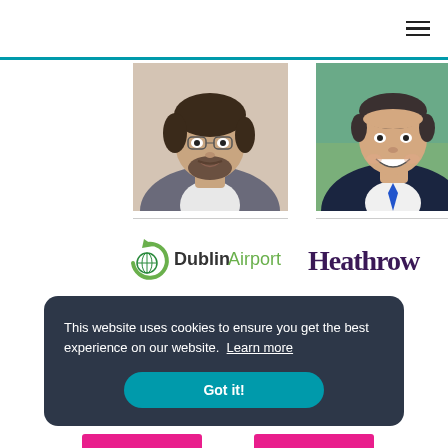Navigation header with hamburger menu icon
[Figure (photo): Headshot of a man with curly hair and beard wearing a grey jacket, cropped at mouth and shoulders]
[Figure (photo): Headshot of a smiling man in a dark suit with blue tie, outdoors background]
[Figure (logo): Dublin Airport logo with green circular arrow icon and text 'DublinAirport']
[Figure (logo): Heathrow logo in dark purple serif text]
This website uses cookies to ensure you get the best experience on our website.  Learn more
Got it!